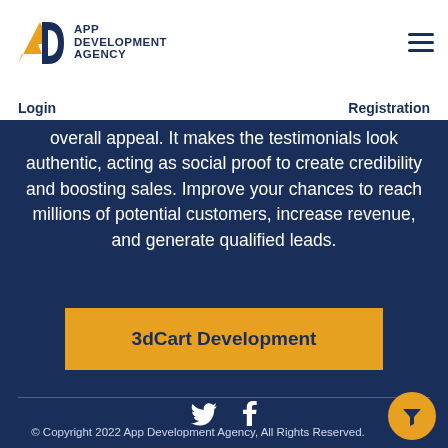App Development Agency
Login    Registration
overall appeal. It makes the testimonials look authentic, acting as social proof to create credibility and boosting sales. Improve your chances to reach millions of potential customers, increase revenue, and generate qualified leads.
3dCart Development
[Figure (illustration): Twitter and Facebook social media icons in white on dark blue background]
© Copyright 2022 App Development Agency, All Rights Reserved.